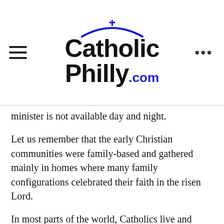CatholicPhilly.com
minister is not available day and night.
Let us remember that the early Christian communities were family-based and gathered mainly in homes where many family configurations celebrated their faith in the risen Lord.
In most parts of the world, Catholics live and practice their faith primarily in the context of the domestic church. For millions of Catholics, having access to a priest or a large church 24/7 is a rare privilege.
Every now and then, we need to revisit what sustains our Catholic imagination. Yes, let’s hope for a return to our beautiful temples. Let’s also affirm the value of the family as domestic church, and let it flourish!